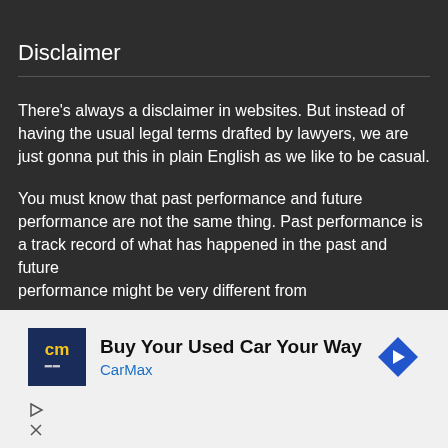Disclaimer
There's always a disclaimer in websites. But instead of having the usual legal terms drafted by lawyers, we are just gonna put this in plain English as we like to be casual.
You must know that past performance and future performance are not the same thing. Past performance is a track record of what has happened in the past and future performance might be very different from
[Figure (other): CarMax advertisement banner: 'Buy Your Used Car Your Way - CarMax' with CarMax logo and navigation arrow icon]